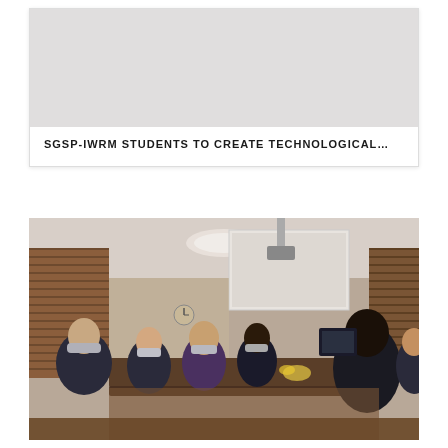[Figure (photo): Card with a light gray placeholder image at top]
SGSP-IWRM STUDENTS TO CREATE TECHNOLOGICAL...
[Figure (photo): Photograph of a meeting room with people wearing face masks seated around a conference table, a projection screen visible in the background, blinds on windows, and indoor lighting overhead.]